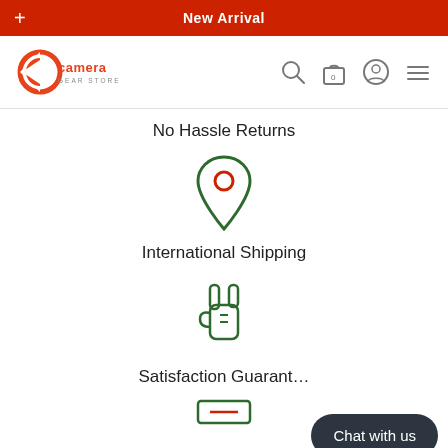New Arrival
[Figure (logo): Camera Gear Store logo with orange C icon and text]
No Hassle Returns
[Figure (illustration): Green map pin / location icon with red circle center]
International Shipping
[Figure (illustration): Green rock-on hand gesture icon]
Satisfaction Guarant…
[Figure (illustration): Green icon at bottom (partially visible)]
Chat with us